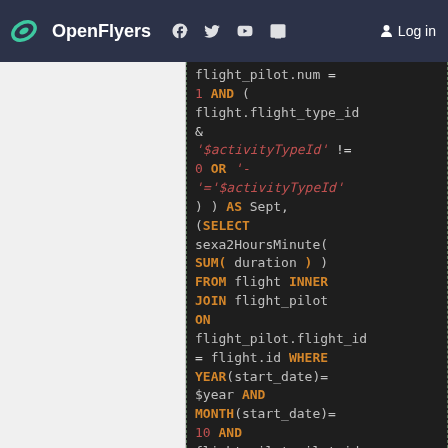OpenFlyers — navigation header with logo, social icons, and Log in link
[Figure (screenshot): Code editor panel showing SQL query fragment with syntax highlighting: flight_pilot.num = 1 AND (flight.flight_type_id & '$activityTypeId' != 0 OR '-'='$activityTypeId' ) ) AS Sept, (SELECT sexa2HoursMinute( SUM( duration ) ) FROM flight INNER JOIN flight_pilot ON flight_pilot.flight_id = flight.id WHERE YEAR(start_date)= $year AND MONTH(start_date)= 10 AND flight_pilot.pilot_id = a.id AND flight_pilot.num = 1 AND (flight.flight_type_id & '$activityTypeId' !=]